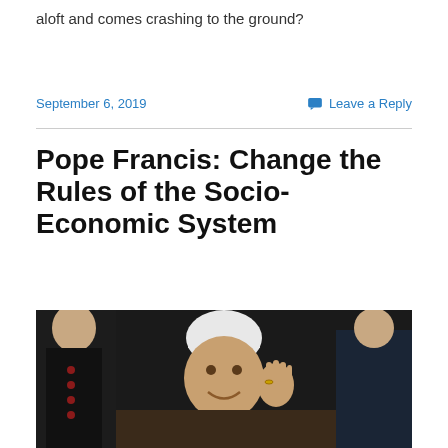aloft and comes crashing to the ground?
September 6, 2019
Leave a Reply
Pope Francis: Change the Rules of the Socio-Economic System
[Figure (photo): Pope Francis in white papal vestments and zucchetto, smiling and waving, with a priest in black and red vestments visible behind him on the left, and another figure in the background on the right.]